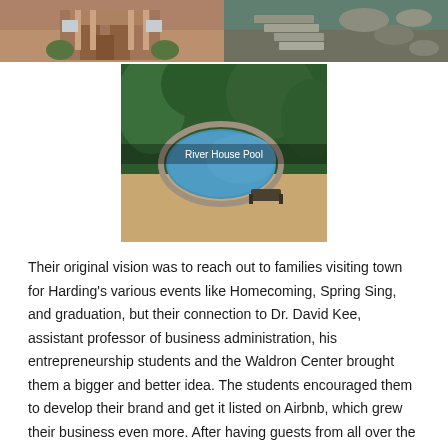[Figure (photo): Top row of two property photos: left shows brick house with columns and landscaping, right shows stone steps/pathway outdoors]
[Figure (photo): Aerial view of River House Pool surrounded by trees and stone landscaping, with caption 'River House Pool']
Their original vision was to reach out to families visiting town for Harding's various events like Homecoming, Spring Sing, and graduation, but their connection to Dr. David Kee, assistant professor of business administration, his entrepreneurship students and the Waldron Center brought them a bigger and better idea. The students encouraged them to develop their brand and get it listed on Airbnb, which grew their business even more. After having guests from all over the country, the Roses said they have loved the opportunity to do